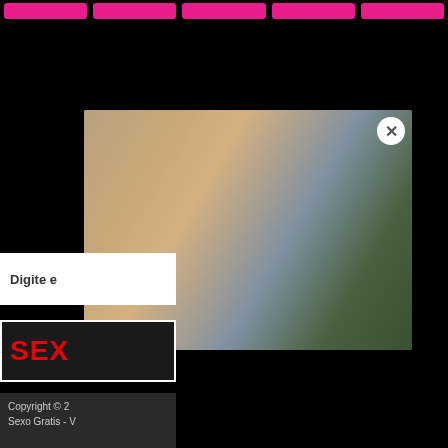[Figure (screenshot): Navigation bar with pink buttons on black background at top of page]
[Figure (photo): Popup overlay image showing two people close together, with a white circle X close button in top right corner]
Digite e
[Figure (logo): SEX logo in red bold text on dark background with white border]
Copyright © 2
Sexo Gratis - V